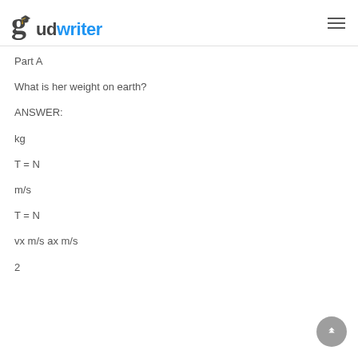gudwriter
Part A
What is her weight on earth?
ANSWER:
kg
m/s
vx m/s ax m/s
2